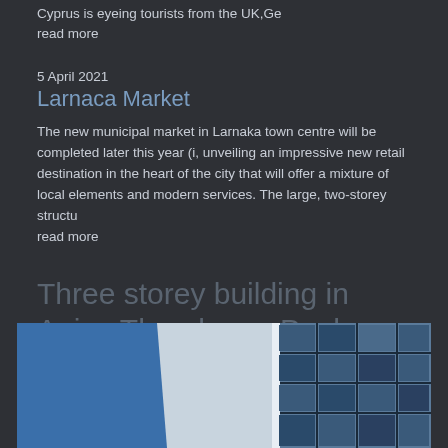Cyprus is eyeing tourists from the UK,Ge
read more
5 April 2021
Larnaca Market
The new municipal market in Larnaka town centre will be completed later this year (i, unveiling an impressive new retail destination in the heart of the city that will offer a mixture of local elements and modern services. The large, two-storey structu
read more
Three storey building in Agios Theodoros, Paphos
[Figure (photo): Photograph of a modern three-storey building exterior showing blue sky and glass facade with grid-pattern windows]